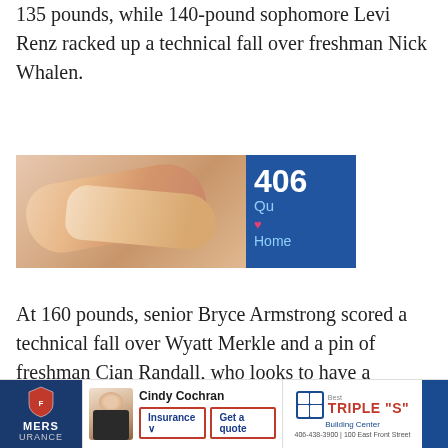135 pounds, while 140-pound sophomore Levi Renz racked up a technical fall over freshman Nick Whalen.
[Figure (photo): Advertisement banner showing hands and the number 406 with text 'Qu Home']
At 160 pounds, senior Bryce Armstrong scored a technical fall over Wyatt Merkle and a pin of freshman Cian Randall, who looks to have a promising future on the mat. Senior Tommy Challeen ruled the 152-pound class, pinning Kyle Christie at the end of the first period, then running up multiple takedowns to post a technical fall
Cindy Cochran | Insurance | Get a quote | TRIPLE "S" | 406-438-3900 | 100 East Front Street